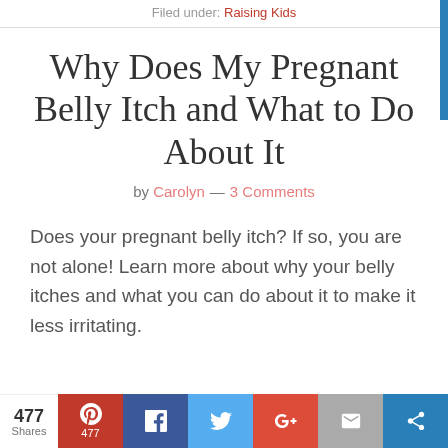Filed under: Raising Kids
Why Does My Pregnant Belly Itch and What to Do About It
by Carolyn — 3 Comments
Does your pregnant belly itch? If so, you are not alone! Learn more about why your belly itches and what you can do about it to make it less irritating.